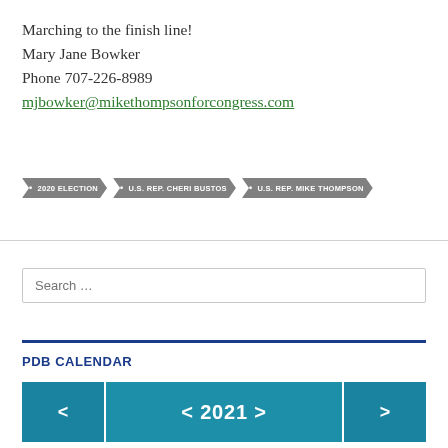Marching to the finish line!
Mary Jane Bowker
Phone 707-226-8989
mjbowker@mikethompsonforcongress.com
2020 ELECTION
U.S. REP. CHERI BUSTOS
U.S. REP. MIKE THOMPSON
Search ...
PDB CALENDAR
< 2021 >